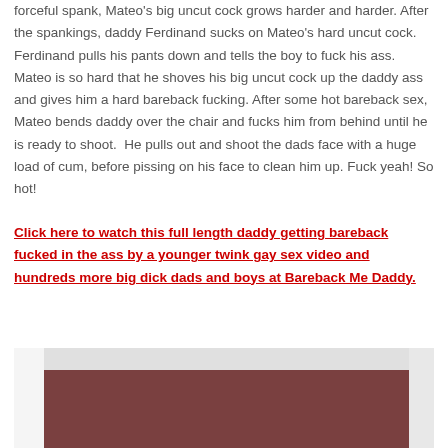forceful spank, Mateo's big uncut cock grows harder and harder. After the spankings, daddy Ferdinand sucks on Mateo's hard uncut cock. Ferdinand pulls his pants down and tells the boy to fuck his ass. Mateo is so hard that he shoves his big uncut cock up the daddy ass and gives him a hard bareback fucking. After some hot bareback sex, Mateo bends daddy over the chair and fucks him from behind until he is ready to shoot.  He pulls out and shoot the dads face with a huge load of cum, before pissing on his face to clean him up. Fuck yeah! So hot!
Click here to watch this full length daddy getting bareback fucked in the ass by a younger twink gay sex video and hundreds more big dick dads and boys at Bareback Me Daddy.
[Figure (photo): Partial view of a room with dark curtains and a person partially visible]